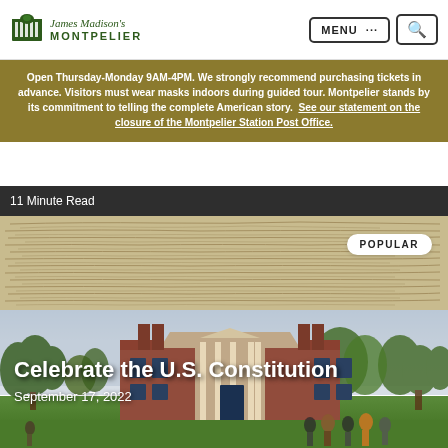James Madison's Montpelier — MENU ... [search]
Open Thursday-Monday 9AM-4PM. We strongly recommend purchasing tickets in advance. Visitors must wear masks indoors during guided tour. Montpelier stands by its commitment to telling the complete American story. See our statement on the closure of the Montpelier Station Post Office.
11 Minute Read
[Figure (photo): Hero image combining a historic handwritten Constitution document in the background (top half) and a photo of the Montpelier brick mansion with trees, lawn, and visitors in the foreground (bottom half). A 'POPULAR' badge is overlaid in the upper right.]
Celebrate the U.S. Constitution
September 17, 2022